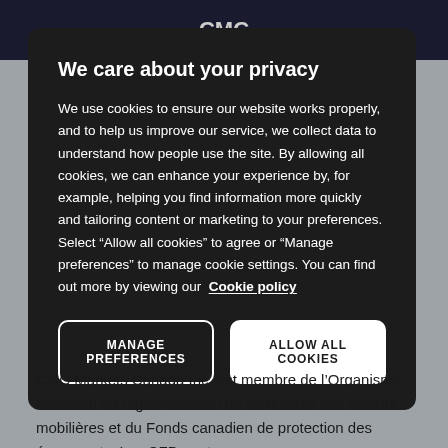We care about your privacy
We use cookies to ensure our website works properly, and to help us improve our service, we collect data to understand how people use the site. By allowing all cookies, we can enhance your experience by, for example, helping you find information more quickly and tailoring content or marketing to your preferences. Select “Allow all cookies” to agree or “Manage preferences” to manage cookie settings. You can find out more by viewing our Cookie policy
MANAGE PREFERENCES
ALLOW ALL COOKIES
CMC Markets Canada Inc. est membre de l’Organisme canadien de réglementation du commerce des valeurs mobilières et du Fonds canadien de protection des épargnants. Les CFD sont